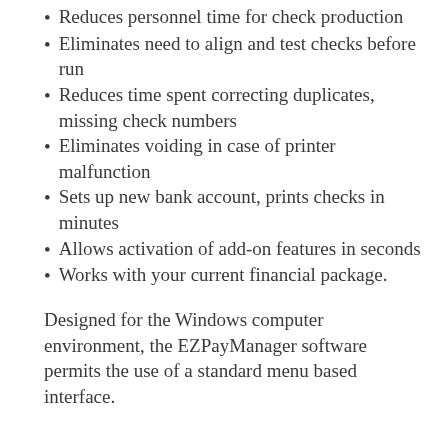Reduces personnel time for check production
Eliminates need to align and test checks before run
Reduces time spent correcting duplicates, missing check numbers
Eliminates voiding in case of printer malfunction
Sets up new bank account, prints checks in minutes
Allows activation of add-on features in seconds
Works with your current financial package.
Designed for the Windows computer environment, the EZPayManager software permits the use of a standard menu based interface.